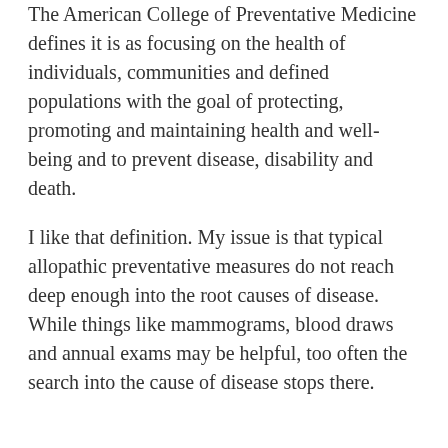The American College of Preventative Medicine defines it is as focusing on the health of individuals, communities and defined populations with the goal of protecting, promoting and maintaining health and well-being and to prevent disease, disability and death.
I like that definition. My issue is that typical allopathic preventative measures do not reach deep enough into the root causes of disease. While things like mammograms, blood draws and annual exams may be helpful, too often the search into the cause of disease stops there.